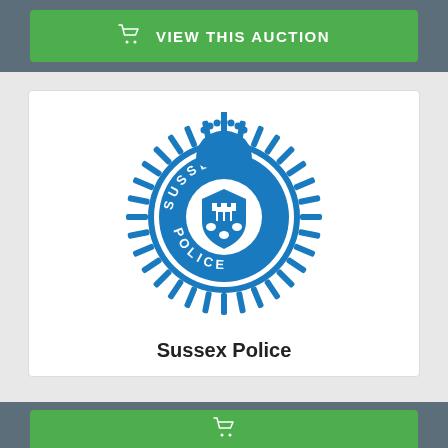[Figure (logo): Green button with basket icon and text VIEW THIS AUCTION on a grey header bar]
[Figure (logo): Sussex Police badge/crest logo in blue, featuring a crown at top, sunburst pattern around a circular badge reading SUSSEX POLICE with a shield in the centre]
Sussex Police
[Figure (logo): Partial green button visible at the bottom of the page]